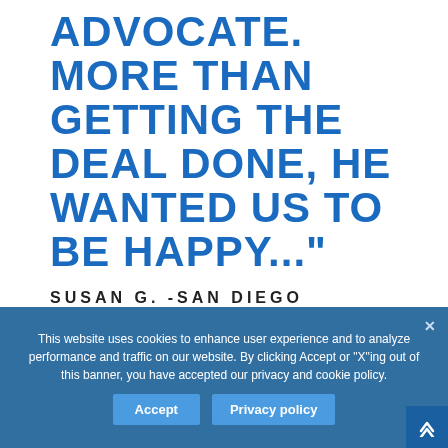ADVOCATE. MORE THAN GETTING THE DEAL DONE, HE WANTED US TO BE HAPPY..."
SUSAN G. -SAN DIEGO
This website uses cookies to enhance user experience and to analyze performance and traffic on our website. By clicking Accept or "X"ing out of this banner, you have accepted our privacy and cookie policy.